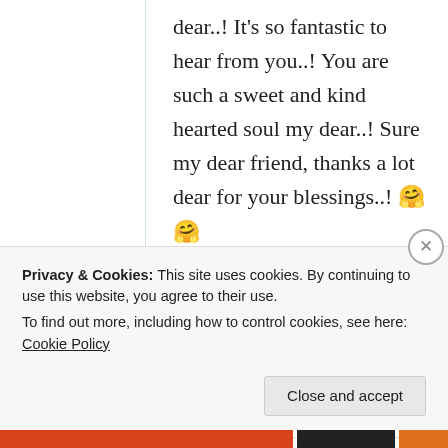dear..! It’s so fantastic to hear from you..! You are such a sweet and kind hearted soul my dear..! Sure my dear friend, thanks a lot dear for your blessings..! 🤗🤗
★ Liked by 2 people
Privacy & Cookies: This site uses cookies. By continuing to use this website, you agree to their use.
To find out more, including how to control cookies, see here: Cookie Policy
Close and accept